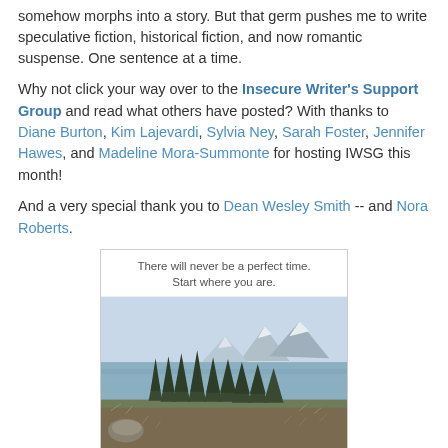somehow morphs into a story. But that germ pushes me to write speculative fiction, historical fiction, and now romantic suspense. One sentence at a time.
Why not click your way over to the Insecure Writer's Support Group and read what others have posted? With thanks to Diane Burton, Kim Lajevardi, Sylvia Ney, Sarah Foster, Jennifer Hawes, and Madeline Mora-Summonte for hosting IWSG this month!
And a very special thank you to Dean Wesley Smith -- and Nora Roberts.
[Figure (photo): Inspirational image with text overlay reading 'There will never be a perfect time. Start where you are.' above a landscape scene with pine trees, a lake, and snow-capped mountains in the background.]